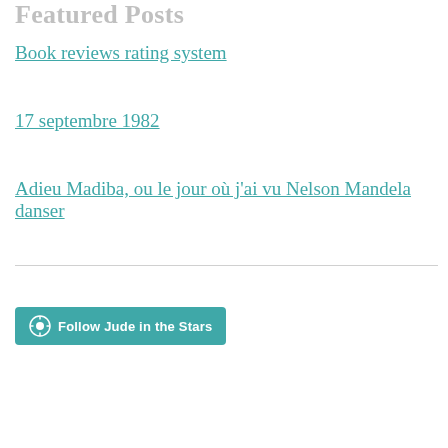Featured Posts
Book reviews rating system
17 septembre 1982
Adieu Madiba, ou le jour où j'ai vu Nelson Mandela danser
[Figure (other): Follow Jude in the Stars WordPress follow button]